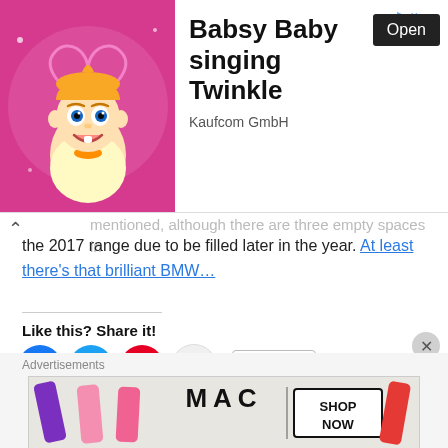[Figure (screenshot): Mobile advertisement banner for 'Babsy Baby singing Twinkle' by Kaufcom GmbH with pink background cartoon baby image and Open button]
...mentioned, although there are three empty spaces in the 2017 range due to be filled later in the year. At least there's that brilliant BMW...
Like this? Share it!
[Figure (infographic): Social share buttons: Facebook, Twitter, Pinterest, Reddit circles and More button]
Like this:
Loading...
Advertisements
[Figure (screenshot): MAC cosmetics advertisement showing lipsticks with SHOP NOW text]